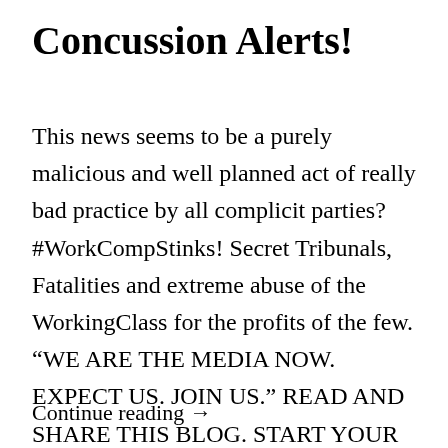Concussion Alerts!
This news seems to be a purely malicious and well planned act of really bad practice by all complicit parties?  #WorkCompStinks!  Secret Tribunals, Fatalities and extreme abuse of the WorkingClass for the profits of the few.  “WE ARE THE MEDIA NOW.  EXPECT US. JOIN US.”   READ AND SHARE THIS BLOG.  START YOUR OWN.   …
Continue reading  →